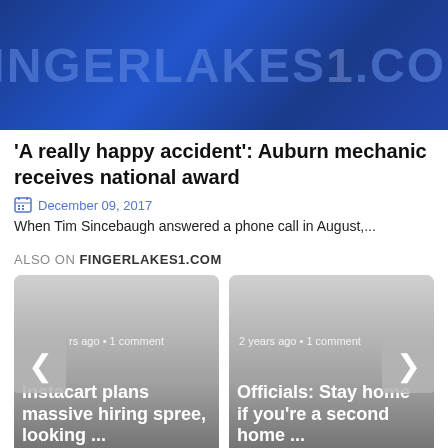[Figure (logo): FINGERLAKES1.COM banner logo in light blue text on dark blue gradient background]
'A really happy accident': Auburn mechanic receives national award
December 09, 2017
When Tim Sincebaugh answered a phone call in August,...
ALSO ON FINGERLAKES1.COM
[Figure (screenshot): Card showing article: Instacart plans massive hiring spree, looking ... with label 'rs ago • 1 comment']
[Figure (screenshot): Card showing article: Officials: Stay home if you're a second home ... with label '2 years ago • 1 comment']